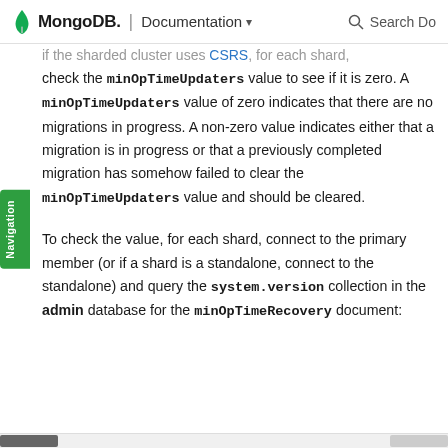MongoDB. | Documentation ▾  🔍 Search Do
if the sharded cluster uses CSRS, for each shard, check the minOpTimeUpdaters value to see if it is zero. A minOpTimeUpdaters value of zero indicates that there are no migrations in progress. A non-zero value indicates either that a migration is in progress or that a previously completed migration has somehow failed to clear the minOpTimeUpdaters value and should be cleared.
To check the value, for each shard, connect to the primary member (or if a shard is a standalone, connect to the standalone) and query the system.version collection in the admin database for the minOpTimeRecovery document: